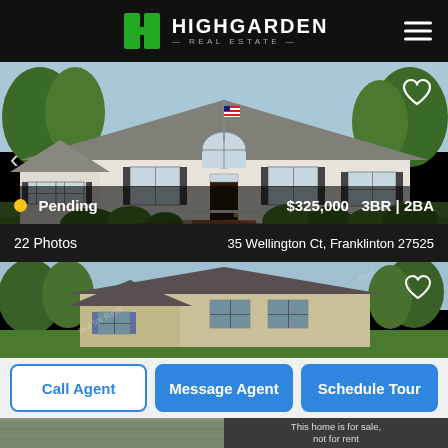[Figure (logo): Highgarden Real Estate logo with green H icon and white text]
[Figure (photo): Front exterior of white single-story home with black shutters, arched window, brick stairs, American flag, green landscaping. Status: Pending. Price: $325,000, 3BR | 2BA]
Pending
$325,000   3BR | 2BA
22 Photos
35 Wellington Ct, Franklinton 27525
[Figure (photo): Front exterior of tan two-story home with grey shutters and dark roof, surrounded by trees]
Call Agent
Message Agent
Schedule Tour
This home is for sale, not for rent